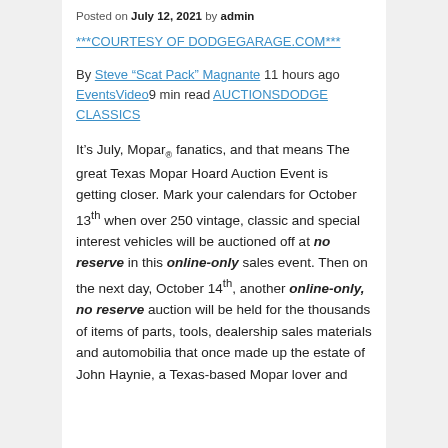Posted on July 12, 2021 by admin
***COURTESY OF DODGEGARAGE.COM***
By Steve “Scat Pack” Magnante 11 hours ago EventsVideo9 min read AUCTIONSDODGE CLASSICS
It’s July, Mopar® fanatics, and that means The great Texas Mopar Hoard Auction Event is getting closer. Mark your calendars for October 13th when over 250 vintage, classic and special interest vehicles will be auctioned off at no reserve in this online-only sales event. Then on the next day, October 14th, another online-only, no reserve auction will be held for the thousands of items of parts, tools, dealership sales materials and automobilia that once made up the estate of John Haynie, a Texas-based Mopar lover and